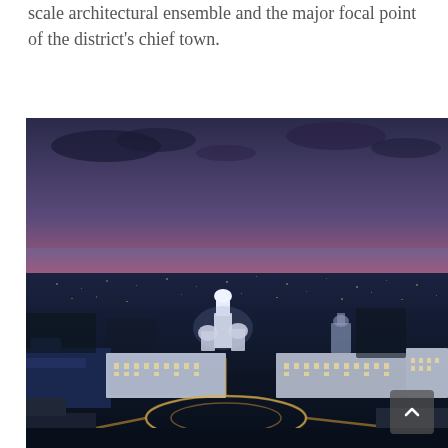scale architectural ensemble and the major focal point of the district's chief town.
[Figure (photo): Aerial dusk/sunset photograph of a city (likely a Russian town) with a prominent white cathedral/bell tower illuminated in the center, surrounded by Soviet-era administrative buildings framing a circular plaza or roundabout, city stretching to the horizon under a vivid orange-pink-purple sunset sky.]